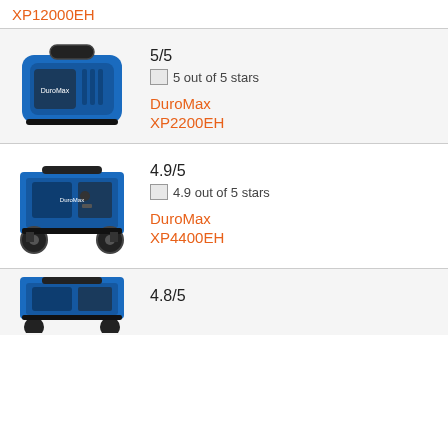XP12000EH
[Figure (photo): Blue DuroMax XP2200EH portable inverter generator, compact design, side view]
5/5
5 out of 5 stars
DuroMax
XP2200EH
[Figure (photo): Blue DuroMax XP4400EH portable generator with wheels and frame, side view]
4.9/5
4.9 out of 5 stars
DuroMax
XP4400EH
[Figure (photo): Blue DuroMax portable generator, partial view at bottom of page]
4.8/5